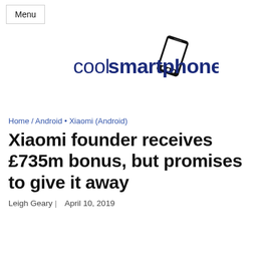Menu
[Figure (logo): coolsmartphone logo with a tilted smartphone icon — text reads 'cool' in regular weight and 'smartphone' in bold, dark blue, with a black smartphone graphic tilted to the right]
Home / Android • Xiaomi (Android)
Xiaomi founder receives £735m bonus, but promises to give it away
Leigh Geary |    April 10, 2019